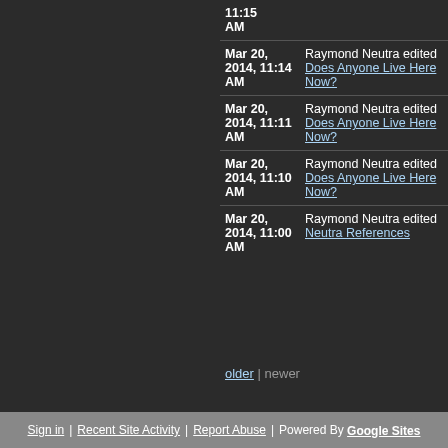| Date | Action |
| --- | --- |
| 11:15 AM |  |
| Mar 20, 2014, 11:14 AM | Raymond Neutra edited Does Anyone Live Here Now? |
| Mar 20, 2014, 11:11 AM | Raymond Neutra edited Does Anyone Live Here Now? |
| Mar 20, 2014, 11:10 AM | Raymond Neutra edited Does Anyone Live Here Now? |
| Mar 20, 2014, 11:00 AM | Raymond Neutra edited Neutra References |
older | newer
Sign in | Recent Site Activity | Report Abuse | Powered By Google Sites